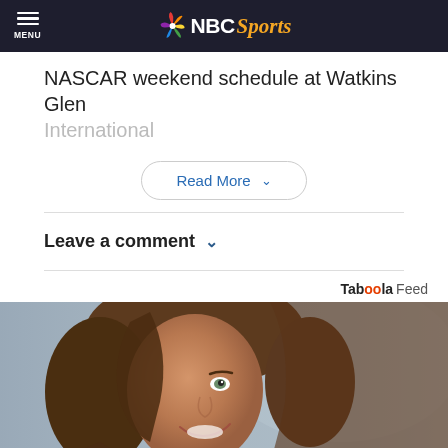NBC Sports
NASCAR weekend schedule at Watkins Glen International
Read More
Leave a comment
Taboola Feed
[Figure (photo): Close-up photo of a smiling woman with long brown hair, one eye partially covered by hair, light background]